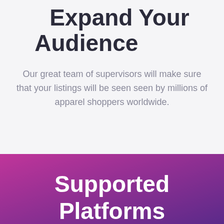Expand Your Audience
Our great team of supervisors will make sure that your listings will be seen seen by millions of apparel shoppers worldwide.
Supported Platforms